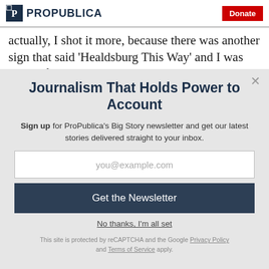ProPublica | Donate
actually, I shot it more, because there was another sign that said 'Healdsburg This Way' and I was kind [of]
Journalism That Holds Power to Account
Sign up for ProPublica's Big Story newsletter and get our latest stories delivered straight to your inbox.
you@example.com
Get the Newsletter
No thanks, I'm all set
This site is protected by reCAPTCHA and the Google Privacy Policy and Terms of Service apply.